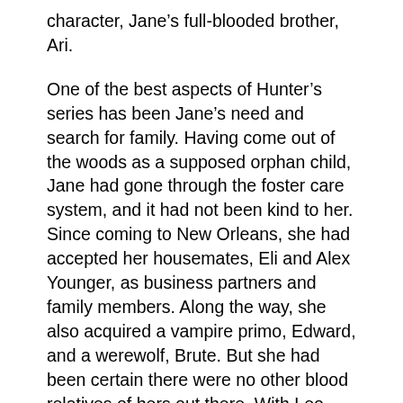character, Jane’s full-blooded brother, Ari.
One of the best aspects of Hunter’s series has been Jane’s need and search for family. Having come out of the woods as a supposed orphan child, Jane had gone through the foster care system, and it had not been kind to her. Since coming to New Orleans, she had accepted her housemates, Eli and Alex Younger, as business partners and family members. Along the way, she also acquired a vampire primo, Edward, and a werewolf, Brute. But she had been certain there were no other blood relatives of hers out there. With Leo, king of the American vampires and Jane’s boss, to confirm Ari’s DNA, Jane has a lot of mixed feelings about this new brother – ecstasy that he is alive; anger that it took so long for him to contact her; joy that there are other relatives; and fear about what it all means for her.
But there is little time to deal with this new relative. The Conclave is on, and the fights are brutal and to the death. Several characters who have held secondary positions in the series for quite some time are killed. This